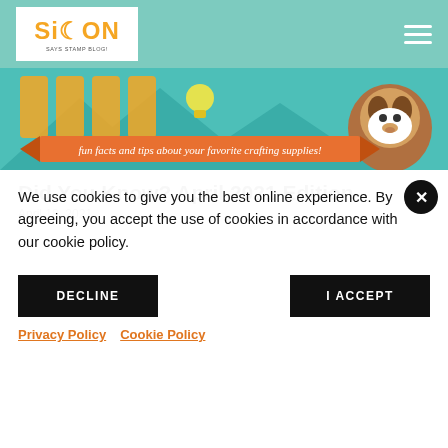Simon Says Stamp Blog
[Figure (illustration): Did You Know? banner with cartoon dog, crafting supplies illustration and text 'fun facts and tips about your favorite crafting supplies!']
Did You Know? April 2021 Edition
April 18, 2021
We use cookies to give you the best online experience. By agreeing, you accept the use of cookies in accordance with our cookie policy.
DECLINE
I ACCEPT
Privacy Policy   Cookie Policy
[Figure (photo): Bottom strip showing crafting cards with text 'everything']